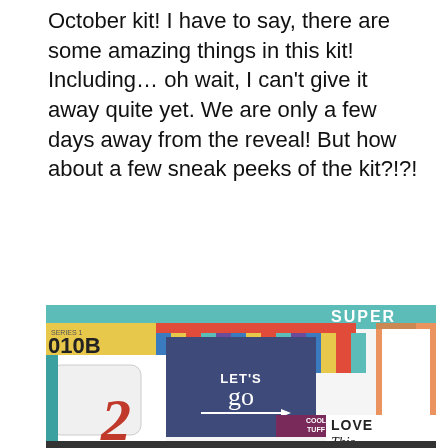October kit! I have to say, there are some amazing things in this kit! Including… oh wait, I can't give it away quite yet. We are only a few days away from the reveal! But how about a few sneak peeks of the kit?!?!
[Figure (photo): A close-up photo of scrapbooking kit contents showing colorful stickers and embellishments including a dark blue square with 'LET'S go' text, 'SUPER' text, 'SERIES 1 010 B' label, 'COOL TUFF' text, 'LOVE This' text, a decorative number 2, and various colorful geometric patterns. Below the photo are two logos: 'Masquerade BALL' in decorative pink script and a dark circle with 'clique' text.]